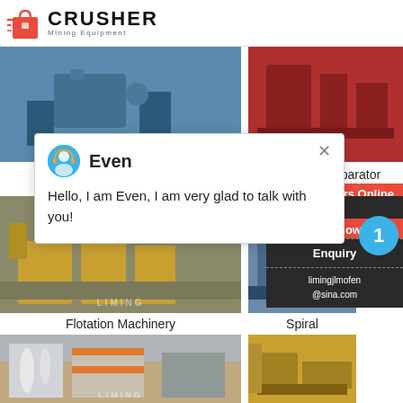[Figure (logo): Crusher Mining Equipment logo with red shopping bag icon and bold CRUSHER text]
[Figure (photo): Ball Mill industrial mining equipment - blue painted steel structure]
[Figure (photo): Magnetic Separator industrial mining equipment - red metal frame]
Ball Mill
Magnetic Separator
[Figure (photo): Flotation Machinery - yellow industrial equipment]
[Figure (photo): Spiral classifier or similar equipment - industrial machinery]
Flotation Machinery
Spiral
[Figure (photo): Large industrial plant building with white pipes and orange/grey facade, LIMING watermark]
[Figure (photo): Industrial mining conveyor or processing equipment - yellow]
24Hrs Online
Hello, I am Even, I am very glad to talk with you!
Need & suggestions
Chat Now
Enquiry
limingjlmofen@sina.com